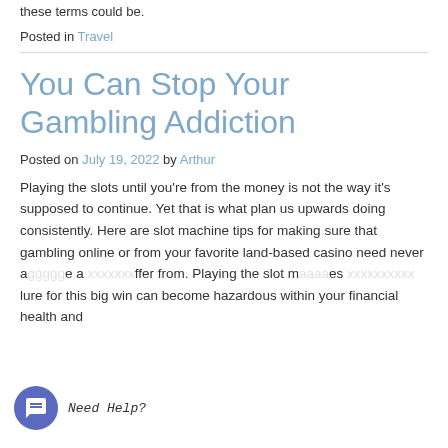these terms could be.
Posted in Travel
You Can Stop Your Gambling Addiction
Posted on July 19, 2022 by Arthur
Playing the slots until you're from the money is not the way it's supposed to continue. Yet that is what plan us upwards doing consistently. Here are slot machine tips for making sure that gambling online or from your favorite land-based casino need never a[...] e a [...] ffer from. Playing the slot m[...]es [...] lure for this big win can become hazardous within your financial health and